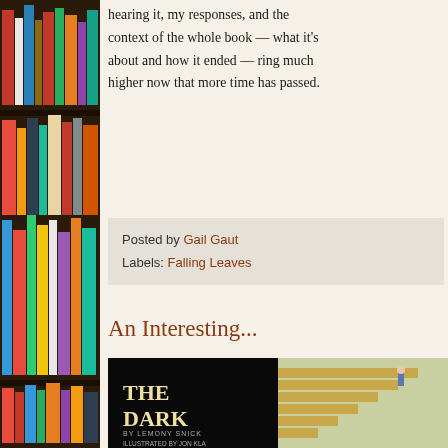[Figure (photo): Bookshelf with colorful books on wooden shelves, dark background, left sidebar]
hearing it, my res... context of the wh... about and how it ... higher now that m...
Posted by Gail Gaut... Labels: Falling Lea...
An Interest...
[Figure (photo): Book cover of 'The Dark' by Lemony Snicket, illustrated by Jon Klassen. Dark background with staircase and small figure.]